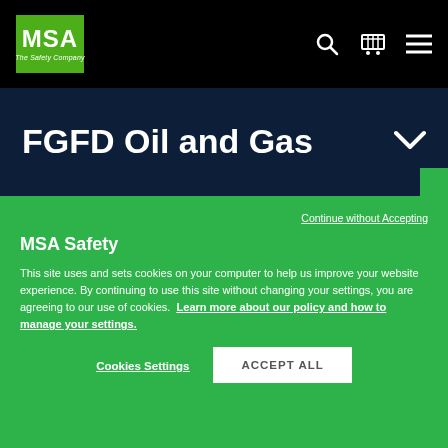[Figure (logo): MSA The Safety Company logo in green box, white text, with navigation icons (search, cart, hamburger menu) on black background]
FGFD Oil and Gas
Continue without Accepting
MSA Safety
This site uses and sets cookies on your computer to help us improve your website experience. By continuing to use this site without changing your settings, you are agreeing to our use of cookies. Learn more about our policy and how to manage your settings.
Cookies Settings
ACCEPT ALL